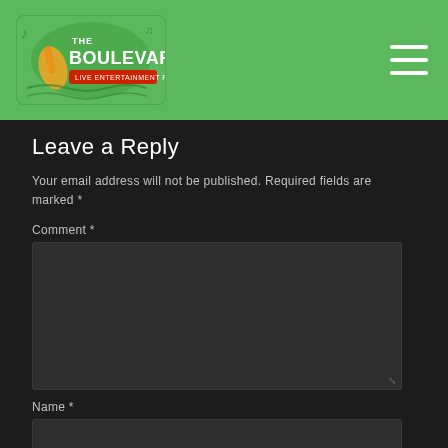[Figure (logo): The Boulevard Live Entertainment Restaurant logo on a green header bar with hamburger menu icon]
Leave a Reply
Your email address will not be published. Required fields are marked *
Comment *
Name *